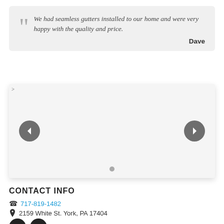We had seamless gutters installed to our home and were very happy with the quality and price. — Dave
[Figure (screenshot): Image carousel/slider with left and right navigation arrow buttons and a pagination dot at the bottom center]
CONTACT INFO
717-819-1482
2159 White St. York, PA 17404
[Figure (infographic): Facebook and Google+ social media icon buttons (dark circles)]